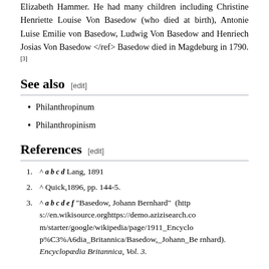Elizabeth Hammer. He had many children including Christine Henriette Louise Von Basedow (who died at birth), Antonie Luise Emilie von Basedow, Ludwig Von Basedow and Henriech Josias Von Basedow </ref> Basedow died in Magdeburg in 1790.[3]
See also [edit]
Philanthropinum
Philanthropinism
References [edit]
1. ^ a b c d Lang, 1891
2. ^ Quick,1896, pp. 144-5.
3. ^ a b c d e f "Basedow, Johann Bernhard" (https://en.wikisource.orghttps://demo.azizisearch.com/starter/google/wikipedia/page/1911_Encyclop%C3%A6dia_Britannica/Basedow,_Johann_Bernhard). Encyclopædia Britannica, Vol. 3.